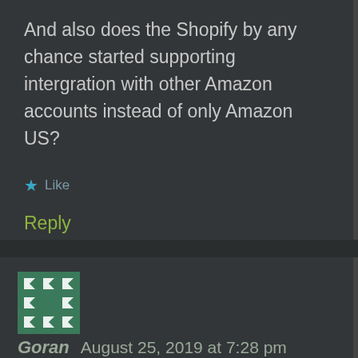And also does the Shopify by any chance started supporting intergration with other Amazon accounts instead of only Amazon US?
★ Like
Reply
Goran  August 25, 2019 at 7:28 pm